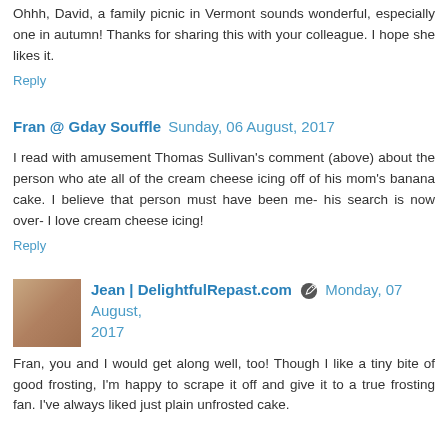Ohhh, David, a family picnic in Vermont sounds wonderful, especially one in autumn! Thanks for sharing this with your colleague. I hope she likes it.
Reply
Fran @ Gday Souffle  Sunday, 06 August, 2017
I read with amusement Thomas Sullivan's comment (above) about the person who ate all of the cream cheese icing off of his mom's banana cake. I believe that person must have been me- his search is now over- I love cream cheese icing!
Reply
Jean | DelightfulRepast.com  Monday, 07 August, 2017
Fran, you and I would get along well, too! Though I like a tiny bite of good frosting, I'm happy to scrape it off and give it to a true frosting fan. I've always liked just plain unfrosted cake.